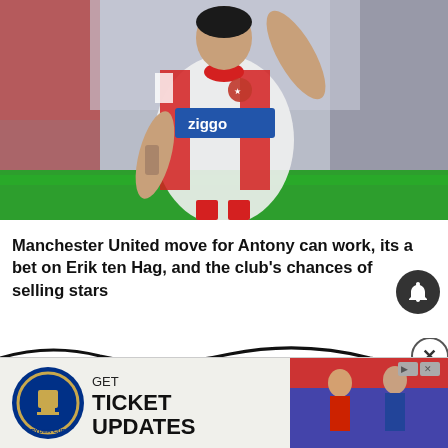[Figure (photo): Football player wearing an Ajax red and white jersey with Ziggo sponsor, raising one arm, playing in a stadium with blurred crowd in background]
Manchester United move for Antony can work, its a bet on Erik ten Hag, and the club's chances of selling stars
[Figure (infographic): Advertisement banner: Ryder Cup logo with text GET TICKET UPDATES alongside photo of golfers]